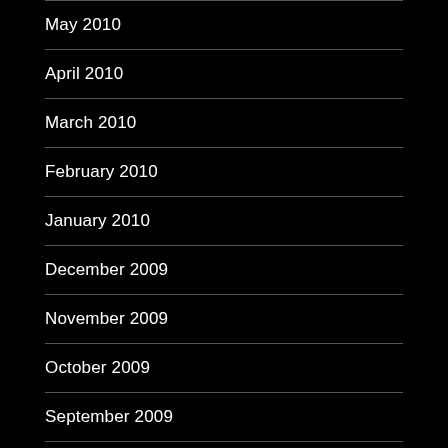May 2010
April 2010
March 2010
February 2010
January 2010
December 2009
November 2009
October 2009
September 2009
August 2009